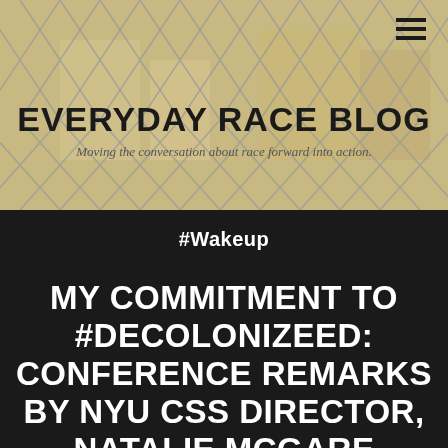[Figure (photo): Chain-link fence background with blurred yellow/tan urban background, used as header image for Everyday Race Blog]
EVERYDAY RACE BLOG
Moving the conversation about race forward into action.
#Wakeup
MY COMMITMENT TO #DECOLONIZEED: CONFERENCE REMARKS BY NYU CSS DIRECTOR, NATALIE MCGARE